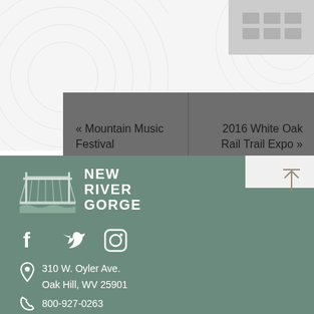[Figure (photo): Gray image placeholder in top right corner]
« Mountain Music Festival
2016 White Oak Rail Trail Expo »
[Figure (logo): New River Gorge logo with bridge illustration]
[Figure (other): Social media icons: Facebook, Twitter, Instagram]
310 W. Oyler Ave. Oak Hill, WV 25901
800-927-0263